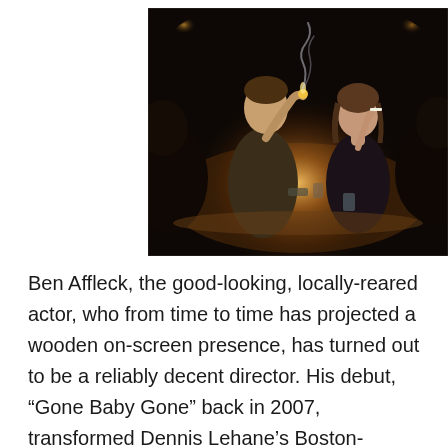[Figure (photo): Dark atmospheric photo of people sitting around a table in dim candlelight. A young man in the center appears to be lighting a cigarette with smoke visible. A woman across from him holds a cigarette. The scene has a noir, vintage quality with warm candlelight illuminating the table.]
Ben Affleck, the good-looking, locally-reared actor, who from time to time has projected a wooden on-screen presence, has turned out to be a reliably decent director. His debut, “Gone Baby Gone” back in 2007, transformed Dennis Lehane’s Boston-seated crime novel into a cinematic pulp noir. That edgy effort had cinephiles anxious for more and Affleck rewarded their patience with another gritty crime drama, “The Town,” in 2010 and then “Argo” in 2012. His latest effort, “Live By Night,” brings another Lehane crime story to the screen.